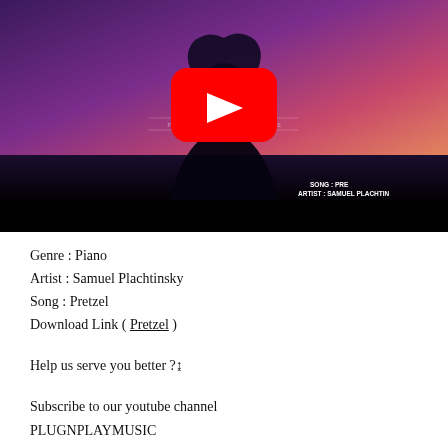[Figure (screenshot): YouTube video thumbnail showing a silhouette of a person with long hair against a purple/pink twilight sky. A red YouTube play button is overlaid in the center. The video title 'Pretzel' is written in cursive white text. Bottom right text reads 'SONG : PRE... ARTIST : SAMUEL PLACHTIN...' The lower portion of the video player area is black.]
Genre : Piano
Artist : Samuel Plachtinsky
Song : Pretzel
Download Link ( Pretzel )
Help us serve you better ?↨
Subscribe to our youtube channel PLUGNPLAYMUSIC